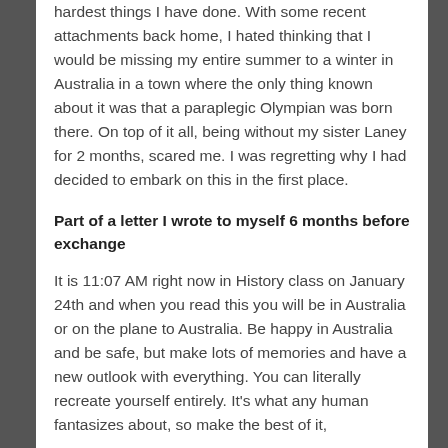hardest things I have done. With some recent attachments back home, I hated thinking that I would be missing my entire summer to a winter in Australia in a town where the only thing known about it was that a paraplegic Olympian was born there. On top of it all, being without my sister Laney for 2 months, scared me. I was regretting why I had decided to embark on this in the first place.
Part of a letter I wrote to myself 6 months before exchange
It is 11:07 AM right now in History class on January 24th and when you read this you will be in Australia or on the plane to Australia. Be happy in Australia and be safe, but make lots of memories and have a new outlook with everything. You can literally recreate yourself entirely. It's what any human fantasizes about, so make the best of it,